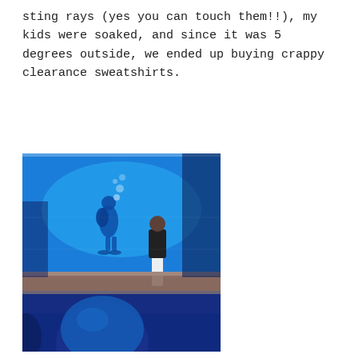sting rays (yes you can touch them!!), my kids were soaked, and since it was 5 degrees outside, we ended up buying crappy clearance sweatshirts.
[Figure (photo): Photo of an aquarium exhibit. A large blue-lit fish tank is visible with a scuba diver inside. A person in dark clothing stands viewing the tank from outside. In the foreground, the back of a child's head is visible, illuminated in blue light.]